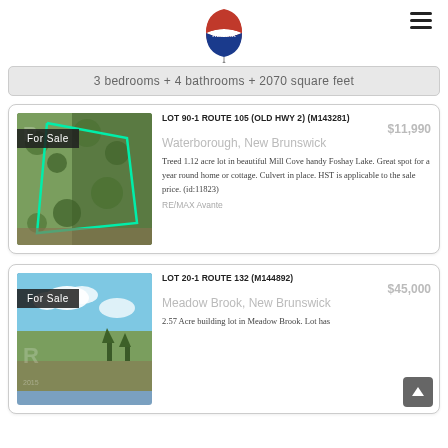[Figure (logo): RE/MAX logo with red, white and blue hot air balloon above RE/MAX wordmark]
3 bedrooms + 4 bathrooms + 2070 square feet
[Figure (photo): Aerial/satellite map view of treed lot with green boundary lines, For Sale badge overlay]
LOT 90-1 ROUTE 105 (OLD HWY 2) (M143281)
$11,990
Waterborough, New Brunswick
Treed 1.12 acre lot in beautiful Mill Cove handy Foshay Lake. Great spot for a year round home or cottage. Culvert in place. HST is applicable to the sale price. (id:11823)
RE/MAX Avante
[Figure (photo): Aerial photo of building lot in Meadow Brook area, blue sky visible, For Sale badge overlay]
LOT 20-1 ROUTE 132 (M144892)
$45,000
Meadow Brook, New Brunswick
2.57 Acre building lot in Meadow Brook. Lot has